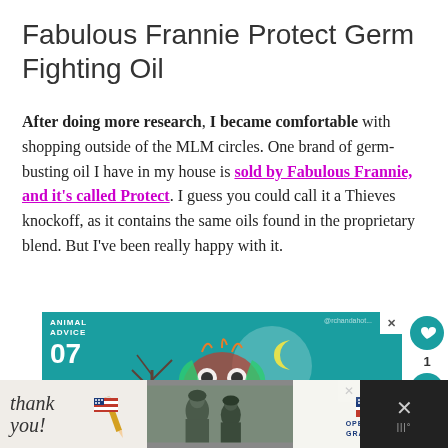Fabulous Frannie Protect Germ Fighting Oil
After doing more research, I became comfortable with shopping outside of the MLM circles. One brand of germ-busting oil I have in my house is sold by Fabulous Frannie, and it's called Protect. I guess you could call it a Thieves knockoff, as it contains the same oils found in the proprietary blend. But I've been really happy with it.
[Figure (infographic): Animal Advice 07 advertisement banner with teal background, decorative bird/owl illustration]
[Figure (infographic): Bottom advertisement bar showing 'Thank you' script text with American flag pencil, military photo, and Operation Gratitude logo on dark background]